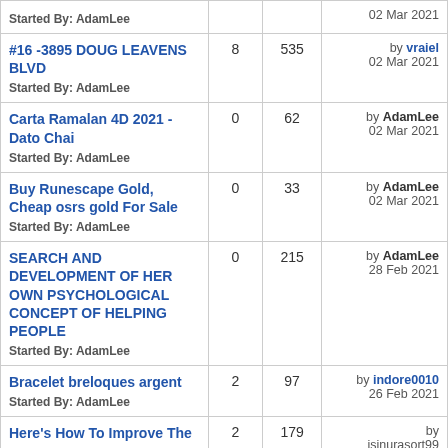| Topic | Replies | Views | Last Post |
| --- | --- | --- | --- |
| Started By: AdamLee |  |  | 02 Mar 2021 |
| #16 -3895 DOUG LEAVENS BLVD
Started By: AdamLee | 8 | 535 | by vraiel
02 Mar 2021 |
| Carta Ramalan 4D 2021 - Dato Chai
Started By: AdamLee | 0 | 62 | by AdamLee
02 Mar 2021 |
| Buy Runescape Gold, Cheap osrs gold For Sale
Started By: AdamLee | 0 | 33 | by AdamLee
02 Mar 2021 |
| SEARCH AND DEVELOPMENT OF HER OWN PSYCHOLOGICAL CONCEPT OF HELPING PEOPLE
Started By: AdamLee | 0 | 215 | by AdamLee
28 Feb 2021 |
| Bracelet breloques argent
Started By: AdamLee | 2 | 97 | by indore0010
26 Feb 2021 |
| Here's How To Improve The
Started By: | 2 | 179 | by jsinurasort99 |